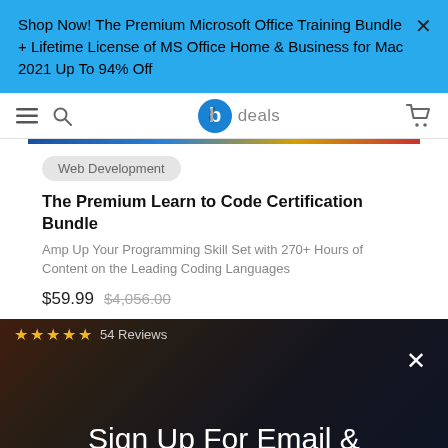Shop Now! The Premium Microsoft Office Training Bundle + Lifetime License of MS Office Home & Business for Mac 2021 Up To 94% Off
[Figure (logo): StackSocial 'b' logo circle with 'deals' text — navigation bar with hamburger menu, search icon, logo, and cart icon]
Web Development
The Premium Learn to Code Certification Bundle
Amp Up Your Programming Skill Set with 270+ Hours of Content on the Leading Coding Languages
$59.99  $4,056.00
★★★★★  54 Reviews
Sign Up For Email & Texts To Unlock 10% Off